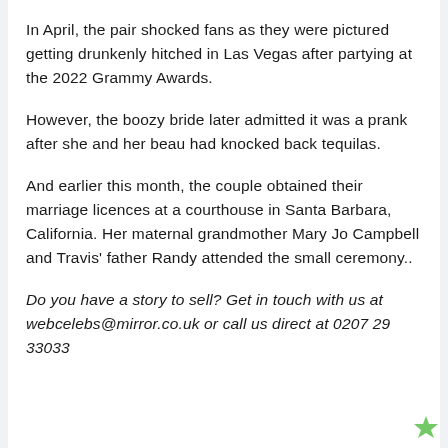In April, the pair shocked fans as they were pictured getting drunkenly hitched in Las Vegas after partying at the 2022 Grammy Awards.
However, the boozy bride later admitted it was a prank after she and her beau had knocked back tequilas.
And earlier this month, the couple obtained their marriage licences at a courthouse in Santa Barbara, California. Her maternal grandmother Mary Jo Campbell and Travis' father Randy attended the small ceremony..
Do you have a story to sell? Get in touch with us at webcelebs@mirror.co.uk or call us direct at 0207 29 33033